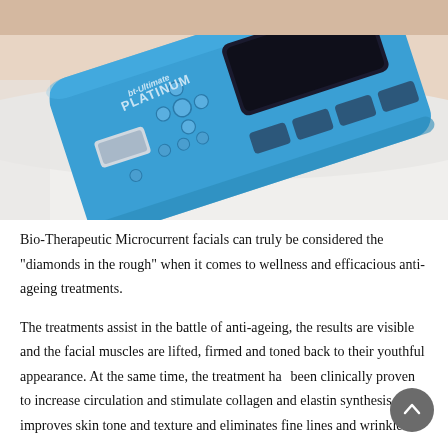[Figure (photo): Close-up photo of a blue Bio-Therapeutic Bt-Ultimate Platinum microcurrent facial device with control panel buttons and a dark LCD screen display, resting on a white surface near a person's neck/shoulder area.]
Bio-Therapeutic Microcurrent facials can truly be considered the "diamonds in the rough" when it comes to wellness and efficacious anti-ageing treatments.
The treatments assist in the battle of anti-ageing, the results are visible and the facial muscles are lifted, firmed and toned back to their youthful appearance. At the same time, the treatment has been clinically proven to increase circulation and stimulate collagen and elastin synthesis. This improves skin tone and texture and eliminates fine lines and wrinkles.